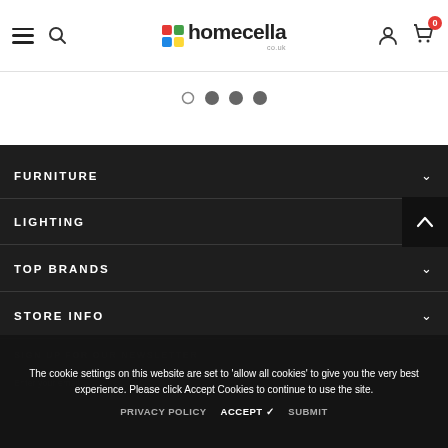homecella – navigation header with hamburger menu, search, logo, user and cart icons
[Figure (screenshot): Carousel pagination dots: one empty circle and three filled circles]
FURNITURE
LIGHTING
TOP BRANDS
STORE INFO
SIGN UP FOR OUR NEWSLETTER
The cookie settings on this website are set to 'allow all cookies' to give you the very best experience. Please click Accept Cookies to continue to use the site.
PRIVACY POLICY   ACCEPT ✓   SUBMIT